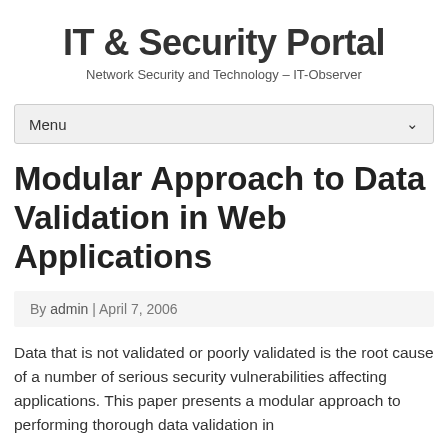IT & Security Portal
Network Security and Technology – IT-Observer
Menu
Modular Approach to Data Validation in Web Applications
By admin | April 7, 2006
Data that is not validated or poorly validated is the root cause of a number of serious security vulnerabilities affecting applications. This paper presents a modular approach to performing thorough data validation in